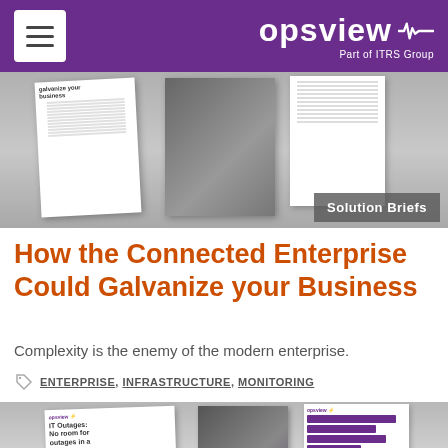opsview — Part of ITRS Group
[Figure (screenshot): Solution brief document pages spread on grey background with 'Solution Briefs' badge overlay]
How the Connected Enterprise Could Galvanize your Business
Complexity is the enemy of the modern enterprise.
ENTERPRISE, INFRASTRUCTURE, MONITORING
[Figure (screenshot): IT Outages: No room for outages in a... document pages on grey background]